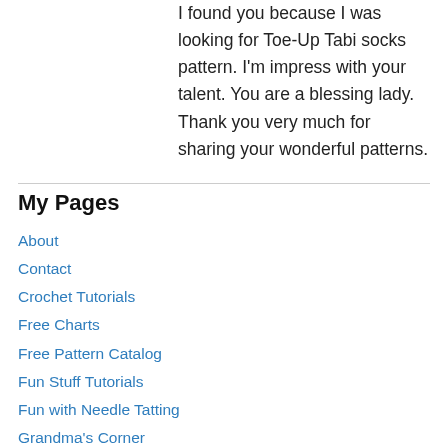I found you because I was looking for Toe-Up Tabi socks pattern. I'm impress with your talent. You are a blessing lady. Thank you very much for sharing your wonderful patterns.
My Pages
About
Contact
Crochet Tutorials
Free Charts
Free Pattern Catalog
Fun Stuff Tutorials
Fun with Needle Tatting
Grandma's Corner
J's Free Designer Pillow Patterns
Knitting Backwards/ Reverse Continental